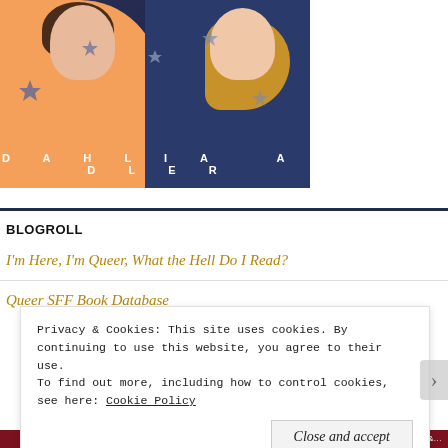[Figure (illustration): Book cover illustration showing two women facing each other about to kiss, one in orange top with dark hair, one in dark navy with blonde hair, on a dark starry background. Text at bottom reads 'DAHLIA ADLER'.]
BLOGROLL
I'm Here, I'm Queer, What the Hell Do I Read?
Queer SFF Book Database
Privacy & Cookies: This site uses cookies. By continuing to use this website, you agree to their use. To find out more, including how to control cookies, see here: Cookie Policy
Close and accept